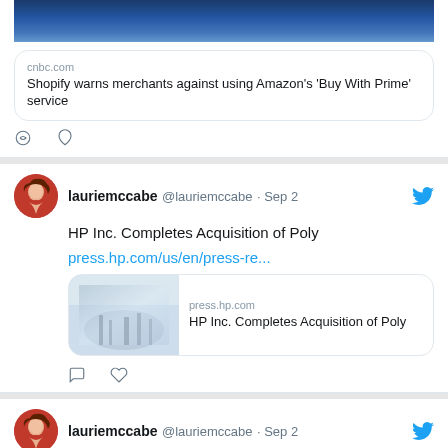[Figure (screenshot): Twitter/social media feed showing tweets from lauriemccabe account]
cnbc.com
Shopify warns merchants against using Amazon's 'Buy With Prime' service
lauriemccabe @lauriemccabe · Sep 2
HP Inc. Completes Acquisition of Poly
press.hp.com/us/en/press-re...
press.hp.com
HP Inc. Completes Acquisition of Poly
lauriemccabe @lauriemccabe · Sep 2
Acumatica rolls out updates that break geographic boundaries